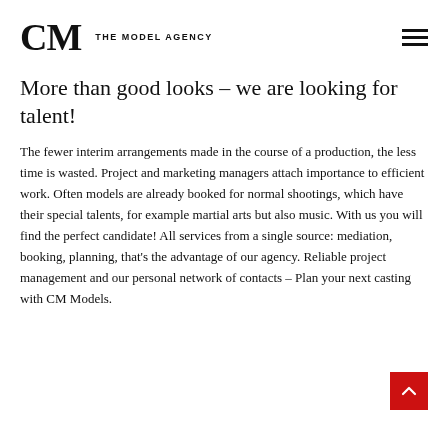CM THE MODEL AGENCY
More than good looks – we are looking for talent!
The fewer interim arrangements made in the course of a production, the less time is wasted. Project and marketing managers attach importance to efficient work. Often models are already booked for normal shootings, which have their special talents, for example martial arts but also music. With us you will find the perfect candidate! All services from a single source: mediation, booking, planning, that's the advantage of our agency. Reliable project management and our personal network of contacts – Plan your next casting with CM Models.